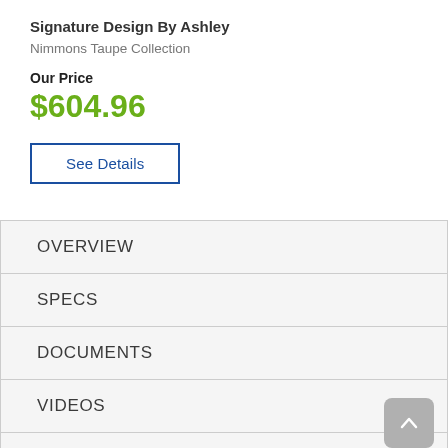Signature Design By Ashley
Nimmons Taupe Collection
Our Price
$604.96
See Details
OVERVIEW
SPECS
DOCUMENTS
VIDEOS
DELIVERY